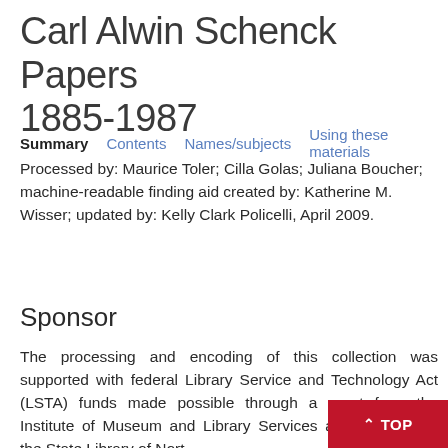Carl Alwin Schenck Papers 1885-1987
Summary   Contents   Names/subjects   Using these materials
Processed by: Maurice Toler; Cilla Golas; Juliana Boucher; machine-readable finding aid created by: Katherine M. Wisser; updated by: Kelly Clark Policelli, April 2009.
Sponsor
The processing and encoding of this collection was supported with federal Library Service and Technology Act (LSTA) funds made possible through a grant from the Institute of Museum and Library Services administered by the State Library of Nort